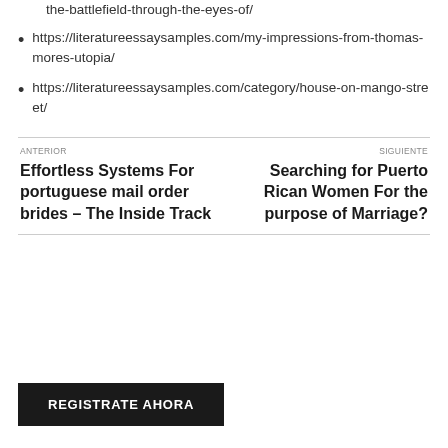the-battlefield-through-the-eyes-of/
https://literatureessaysamples.com/my-impressions-from-thomas-mores-utopia/
https://literatureessaysamples.com/category/house-on-mango-street/
ANTERIOR
Effortless Systems For portuguese mail order brides – The Inside Track
SIGUIENTE
Searching for Puerto Rican Women For the purpose of Marriage?
REGISTRATE AHORA